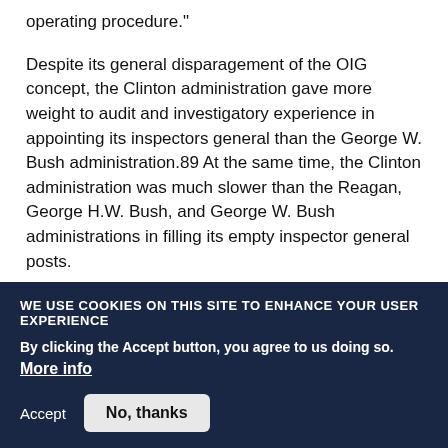operating procedure."
Despite its general disparagement of the OIG concept, the Clinton administration gave more weight to audit and investigatory experience in appointing its inspectors general than the George W. Bush administration.89 At the same time, the Clinton administration was much slower than the Reagan, George H.W. Bush, and George W. Bush administrations in filling its empty inspector general posts.
WE USE COOKIES ON THIS SITE TO ENHANCE YOUR USER EXPERIENCE
By clicking the Accept button, you agree to us doing so. More info
Accept   No, thanks